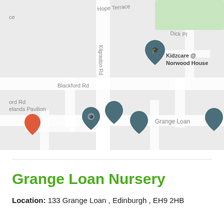[Figure (map): Street map showing the area around Grange Loan in Edinburgh. Map pins visible for Kidzcare @ Norwood House and several other locations. Streets labeled include Hope Terrace, Kilgraston Rd, Dick Pl, Blackford Rd, Grange Loan. Elands Pavilion label visible bottom left.]
Grange Loan Nursery
Location: 133 Grange Loan , Edinburgh , EH9 2HB